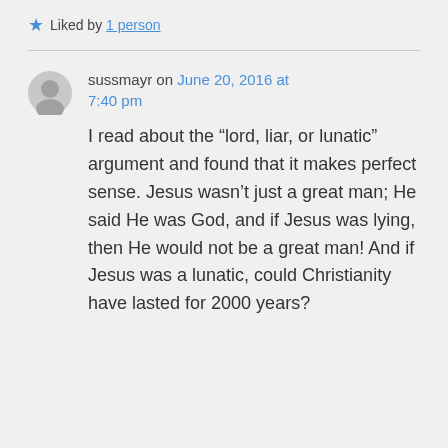★ Liked by 1 person
sussmayr on June 20, 2016 at 7:40 pm
I read about the “lord, liar, or lunatic” argument and found that it makes perfect sense. Jesus wasn’t just a great man; He said He was God, and if Jesus was lying, then He would not be a great man! And if Jesus was a lunatic, could Christianity have lasted for 2000 years?